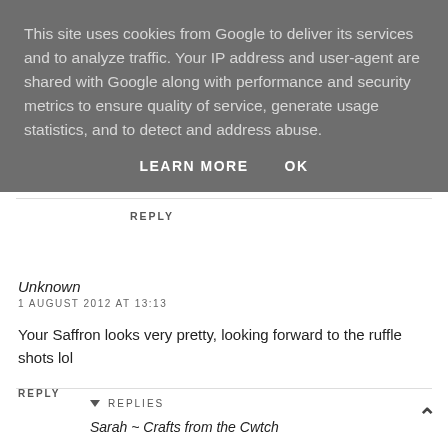This site uses cookies from Google to deliver its services and to analyze traffic. Your IP address and user-agent are shared with Google along with performance and security metrics to ensure quality of service, generate usage statistics, and to detect and address abuse.
LEARN MORE    OK
REPLY
Unknown
1 AUGUST 2012 AT 13:13
Your Saffron looks very pretty, looking forward to the ruffle shots lol
REPLY
▾  REPLIES
Sarah ~ Crafts from the Cwtch